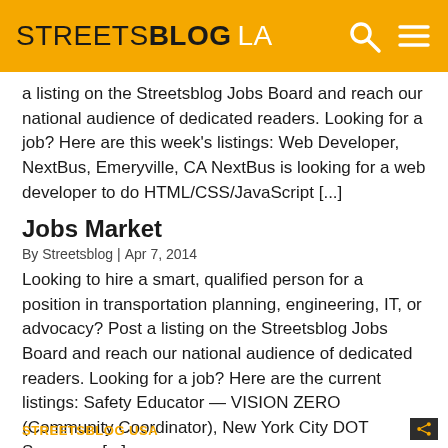STREETSBLOG LA
a listing on the Streetsblog Jobs Board and reach our national audience of dedicated readers. Looking for a job? Here are this week's listings: Web Developer, NextBus, Emeryville, CA NextBus is looking for a web developer to do HTML/CSS/JavaScript [...]
Jobs Market
By Streetsblog | Apr 7, 2014
Looking to hire a smart, qualified person for a position in transportation planning, engineering, IT, or advocacy? Post a listing on the Streetsblog Jobs Board and reach our national audience of dedicated readers. Looking for a job? Here are the current listings: Safety Educator — VISION ZERO (Community Coordinator), New York City DOT Serves as [...]
STREETSBLOG USA